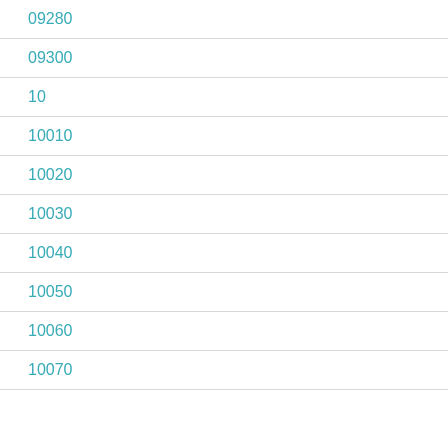09280
09300
10
10010
10020
10030
10040
10050
10060
10070